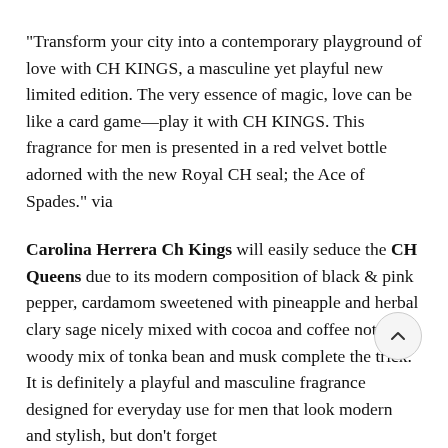“Transform your city into a contemporary playground of love with CH KINGS, a masculine yet playful new limited edition. The very essence of magic, love can be like a card game—play it with CH KINGS. This fragrance for men is presented in a red velvet bottle adorned with the new Royal CH seal; the Ace of Spades.” via
Carolina Herrera Ch Kings will easily seduce the CH Queens due to its modern composition of black & pink pepper, cardamom sweetened with pineapple and herbal clary sage nicely mixed with cocoa and coffee notes. A woody mix of tonka bean and musk complete the trick. It is definitely a playful and masculine fragrance designed for everyday use for men that look modern and stylish, but don’t forget